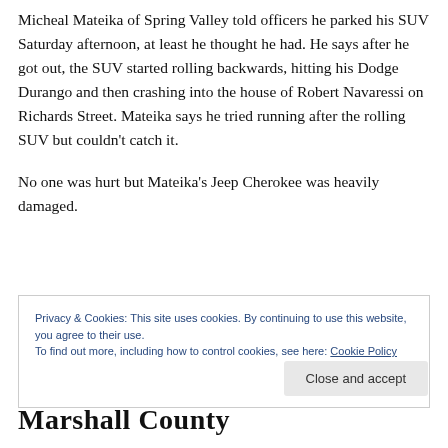Micheal Mateika of Spring Valley told officers he parked his SUV Saturday afternoon, at least he thought he had. He says after he got out, the SUV started rolling backwards, hitting his Dodge Durango and then crashing into the house of Robert Navaressi on Richards Street. Mateika says he tried running after the rolling SUV but couldn't catch it.
No one was hurt but Mateika's Jeep Cherokee was heavily damaged.
Privacy & Cookies: This site uses cookies. By continuing to use this website, you agree to their use.
To find out more, including how to control cookies, see here: Cookie Policy
Close and accept
Marshall County